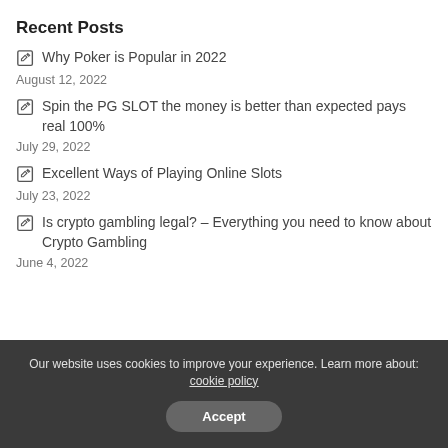Recent Posts
Why Poker is Popular in 2022
August 12, 2022
Spin the PG SLOT the money is better than expected pays real 100%
July 29, 2022
Excellent Ways of Playing Online Slots
July 23, 2022
Is crypto gambling legal? – Everything you need to know about Crypto Gambling
June 4, 2022
Our website uses cookies to improve your experience. Learn more about: cookie policy  Accept